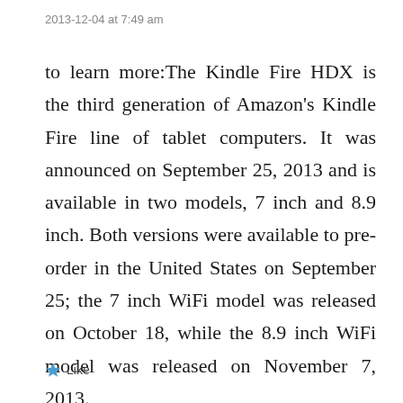2013-12-04 at 7:49 am
to learn more:The Kindle Fire HDX is the third generation of Amazon's Kindle Fire line of tablet computers. It was announced on September 25, 2013 and is available in two models, 7 inch and 8.9 inch. Both versions were available to pre-order in the United States on September 25; the 7 inch WiFi model was released on October 18, while the 8.9 inch WiFi model was released on November 7, 2013.
Like